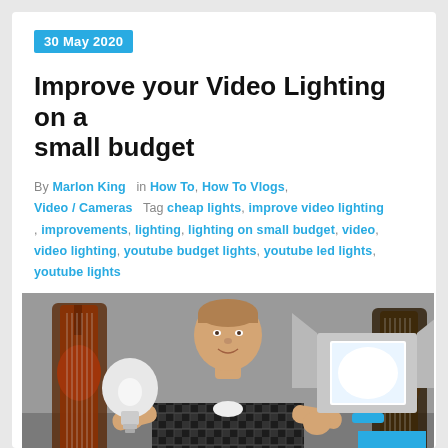30 May 2020
Improve your Video Lighting on a small budget
By Marlon King  in How To, How To Vlogs, Video / Cameras  Tag cheap lights, improve video lighting, improvements, lighting, lighting on small budget, video, video lighting, youtube budget lights, youtube led lights, youtube lights
[Figure (photo): Man holding a light bulb in one hand and an LED video light panel in the other hand, with guitars visible on the wall behind him.]